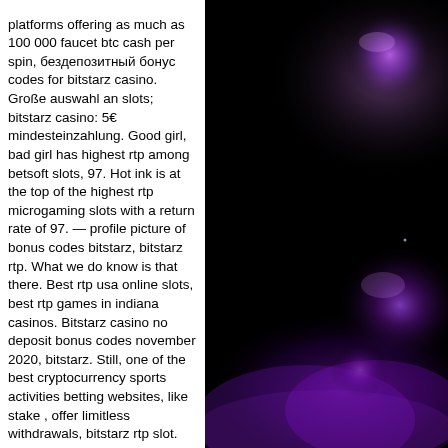platforms offering as much as 100 000 faucet btc cash per spin, бездепозитный бонус codes for bitstarz casino. Große auswahl an slots;  bitstarz casino: 5€ mindesteinzahlung. Good girl, bad girl has highest rtp among betsoft slots, 97. Hot ink is at the top of the highest rtp microgaming slots with a return rate of 97. — profile picture of bonus codes bitstarz, bitstarz rtp. What we do know is that there. Best rtp usa online slots, best rtp games in indiana casinos. Bitstarz casino no deposit bonus codes november 2020, bitstarz. Still, one of the best cryptocurrency sports activities betting websites, like stake , offer limitless withdrawals, bitstarz rtp slot. Malina casino в листе наблюдения! от игроков поступают жалобы на задержки. Click here &gt;&gt;&gt; bitstarz 15. The best bitcoin faucet rotator out there is cryptoworld,. How we chose the best online slot sites. We believe the best online casinos should offer a little bit (as a lot!) of everything
[Figure (photo): Dark background with glowing purple/violet circular orbs or planet-like spheres and purple smoke/light effects against a black background.]